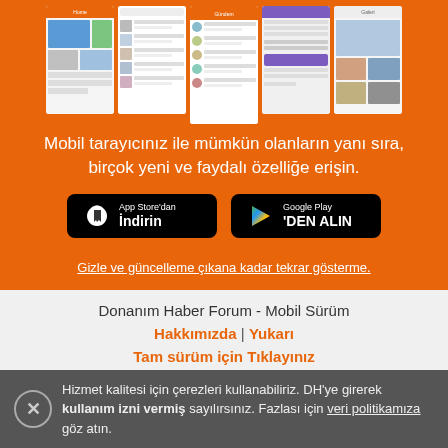[Figure (screenshot): Five mobile app screenshots shown on an orange background]
Mobil tarayıcınız ile mümkün olanların yanı sıra, birçok yeni ve faydalı özelliğe erişin.
[Figure (other): App Store'dan İndirin button (black)]
[Figure (other): Google Play 'DEN ALIN button (black)]
Gizle ve güncelleme çıkana kadar tekrar gösterme.
Donanım Haber Forum - Mobil Sürüm
Hakkımızda | Yukarı
Tam sürüm için Tıklayınız
Hizmet kalitesi için çerezleri kullanabiliriz. DH'ye girerek kullanım izni vermiş sayılırsınız. Fazlası için veri politikamıza göz atın.